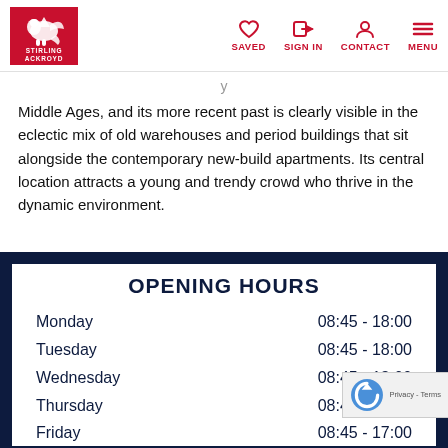[Figure (logo): Stirling Ackroyd logo with red background, white griffin/dragon icon, and text STIRLING ACKROYD]
SAVED   SIGN IN   CONTACT   MENU
Middle Ages, and its more recent past is clearly visible in the eclectic mix of old warehouses and period buildings that sit alongside the contemporary new-build apartments. Its central location attracts a young and trendy crowd who thrive in the dynamic environment.
OPENING HOURS
| Day | Hours |
| --- | --- |
| Monday | 08:45 - 18:00 |
| Tuesday | 08:45 - 18:00 |
| Wednesday | 08:45 - 18:00 |
| Thursday | 08:45 - 18:00 |
| Friday | 08:45 - 17:00 |